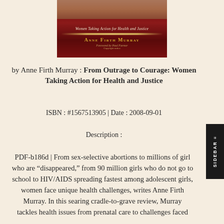[Figure (illustration): Book cover for 'From Outrage to Courage: Women Taking Action for Health and Justice' by Anne Firth Murray, Foreword by Paul Farmer. Dark red/maroon cover with decorative gold elements and subtitle in italic script.]
by Anne Firth Murray : From Outrage to Courage: Women Taking Action for Health and Justice
ISBN : #1567513905 | Date : 2008-09-01
Description :
PDF-b186d | From sex-selective abortions to millions of girls who are “disappeared,” from 90 million girls who do not go to school to HIV/AIDS spreading fastest among adolescent girls, women face unique health challenges, writes Anne Firth Murray. In this searing cradle-to-grave review, Murray tackles health issues from prenatal care to challenges faced